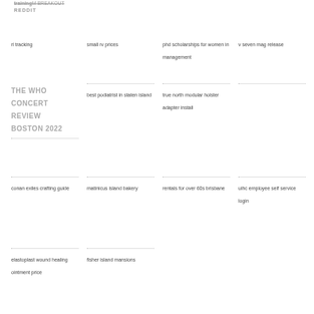training M BREAKOUT
REDDIT
rl tracking
small rv prices
phd scholarships for women in management
v seven mag release
THE WHO CONCERT REVIEW BOSTON 2022
best podiatrist in staten island
true north modular holster adapter install
conan exiles crafting guide
matinicus island bakery
rentals for over 60s brisbane
uihc employee self service login
elastoplast wound healing ointment price
fisher island mansions